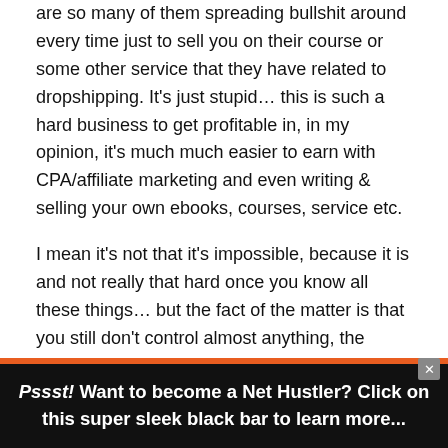are so many of them spreading bullshit around every time just to sell you on their course or some other service that they have related to dropshipping. It's just stupid… this is such a hard business to get profitable in, in my opinion, it's much much easier to earn with CPA/affiliate marketing and even writing & selling your own ebooks, courses, service etc.
I mean it's not that it's impossible, because it is and not really that hard once you know all these things… but the fact of the matter is that you still don't control almost anything, the shipping is too long, the margins are too low and my god the customer
Pssst! Want to become a Net Hustler? Click on this super sleek black bar to learn more...